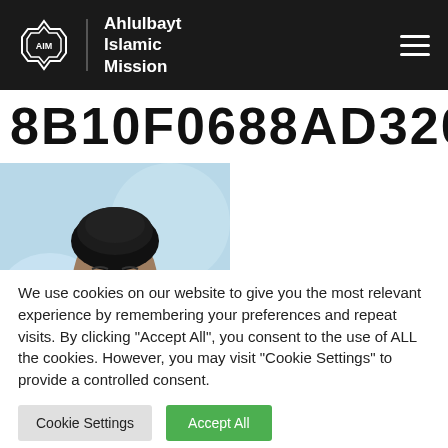Ahlulbayt Islamic Mission
8B10F0688AD320E4EF9DFC
[Figure (photo): Portrait of a bearded man wearing a black turban, illustrated/painted style with light blue background]
We use cookies on our website to give you the most relevant experience by remembering your preferences and repeat visits. By clicking "Accept All", you consent to the use of ALL the cookies. However, you may visit "Cookie Settings" to provide a controlled consent.
Cookie Settings | Accept All